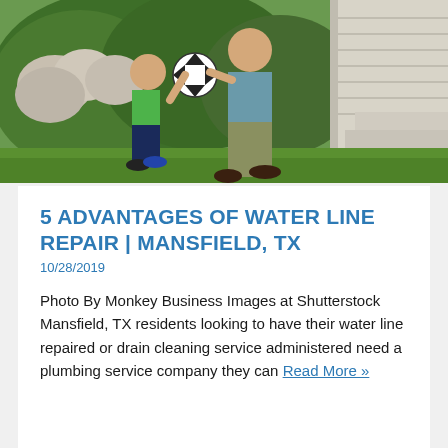[Figure (photo): Outdoor scene showing an adult and a child playing with a soccer ball on a lawn, with hydrangea bushes and house steps in the background.]
5 ADVANTAGES OF WATER LINE REPAIR | MANSFIELD, TX
10/28/2019
Photo By Monkey Business Images at Shutterstock Mansfield, TX residents looking to have their water line repaired or drain cleaning service administered need a plumbing service company they can Read More »